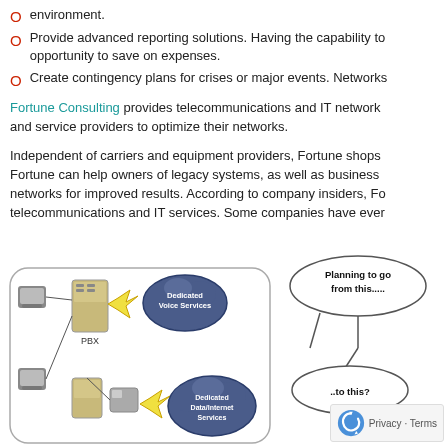environment.
Provide advanced reporting solutions. Having the capability to opportunity to save on expenses.
Create contingency plans for crises or major events. Networks
Fortune Consulting provides telecommunications and IT network and service providers to optimize their networks.
Independent of carriers and equipment providers, Fortune shops. Fortune can help owners of legacy systems, as well as business networks for improved results. According to company insiders, Fortune telecommunications and IT services. Some companies have ever
[Figure (infographic): Network diagram showing PBX connected to Dedicated Voice Services cloud and Dedicated Data/Internet Services cloud, alongside a planning diagram with speech bubbles saying 'Planning to go from this.....' and '..to this?' with a network migration concept illustration. Also shows a reCAPTCHA Privacy-Terms badge in bottom right.]